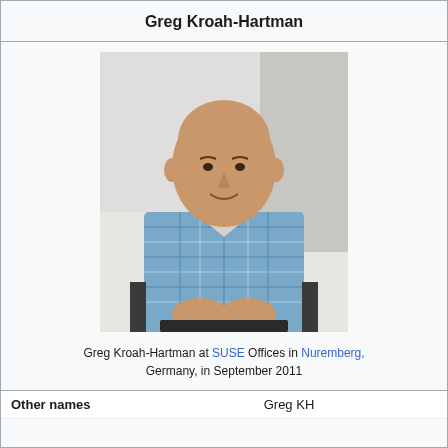Greg Kroah-Hartman
[Figure (photo): Greg Kroah-Hartman seated in a chair, wearing a blue plaid short-sleeve shirt, at SUSE Offices in Nuremberg, Germany, in September 2011]
Greg Kroah-Hartman at SUSE Offices in Nuremberg, Germany, in September 2011
| Other names | Greg KH |
| --- | --- |